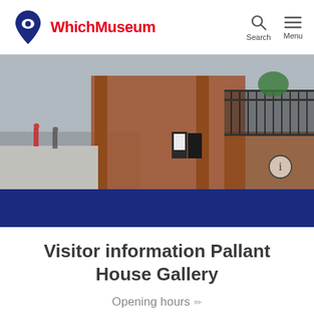WhichMuseum — Search / Menu navigation
[Figure (photo): Street-level photograph of Pallant House Gallery exterior showing brick building with iron railings and a sandwich board sign on the pavement]
Visitor information Pallant House Gallery
Opening hours
| Day | Hours |
| --- | --- |
| Monday | Closed |
| Tuesday | 10:00 – 17:00 |